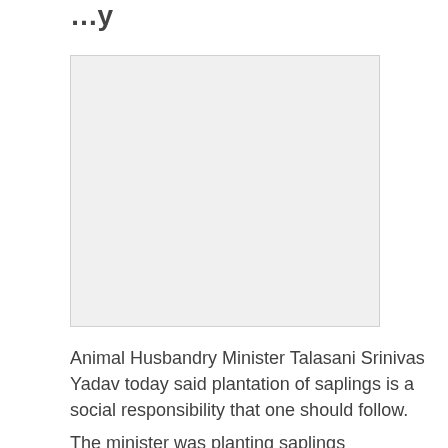...y...p...y...
[Figure (photo): A photo placeholder showing a light gray rectangle, likely depicting Animal Husbandry Minister Talasani Srinivas Yadav planting saplings.]
Animal Husbandry Minister Talasani Srinivas Yadav today said plantation of saplings is a social responsibility that one should follow.
The minister was planting saplings